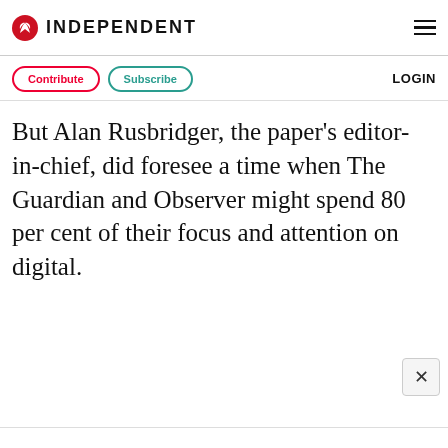INDEPENDENT
Contribute   Subscribe   LOGIN
But Alan Rusbridger, the paper's editor-in-chief, did foresee a time when The Guardian and Observer might spend 80 per cent of their focus and attention on digital.